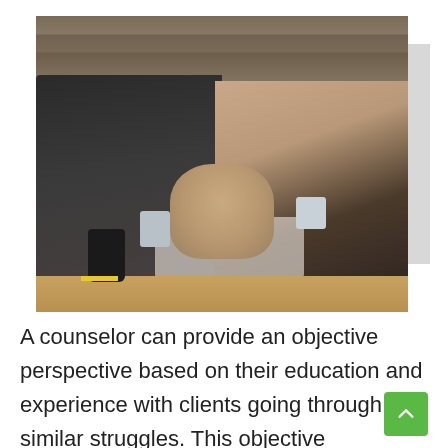[Figure (photo): A couple sitting on a couch/floor against a rustic wooden wall backdrop. A man on the left holds a white mug and smiles, wearing a black jacket. A woman on the right smiles and leans on her arm, wrapped in a beige scarf/blanket. A pug dog sits between them. There is a wooden table in front with a dark mug on it.]
A counselor can provide an objective perspective based on their education and experience with clients going through similar struggles. This objective perspective